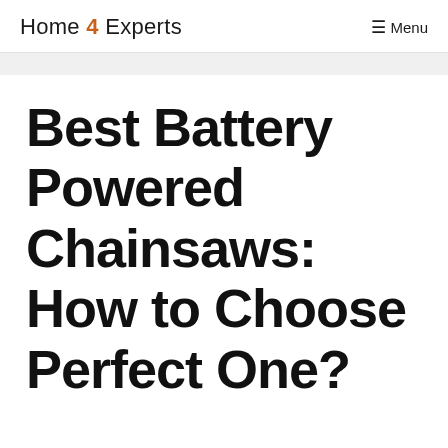Home 4 Experts   Menu
Best Battery Powered Chainsaws: How to Choose Perfect One?